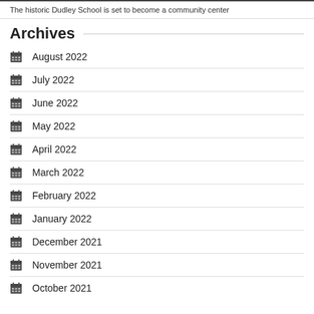The historic Dudley School is set to become a community center
Archives
August 2022
July 2022
June 2022
May 2022
April 2022
March 2022
February 2022
January 2022
December 2021
November 2021
October 2021